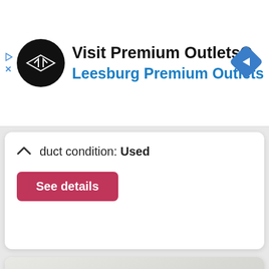[Figure (photo): Advertisement banner for Visit Premium Outlets® showing logo, text, and navigation icon]
Product condition: Used
See details
[Figure (photo): Photo of a Dell USB wireless dongle/receiver on a light background]